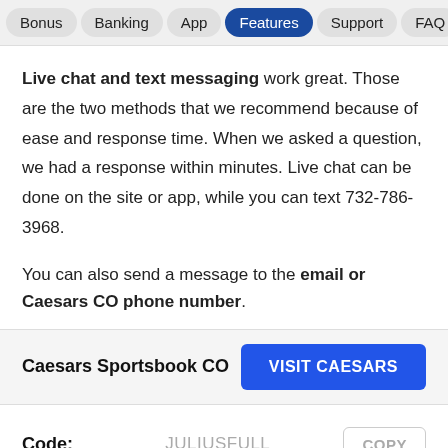Bonus | Banking | App | Features | Support | FAQ
Live chat and text messaging work great. Those are the two methods that we recommend because of ease and response time. When we asked a question, we had a response within minutes. Live chat can be done on the site or app, while you can text 732-786-3968.
You can also send a message to the email or Caesars CO phone number.
Caesars Sportsbook CO   VISIT CAESARS
Code: JULIUSFULL COPY